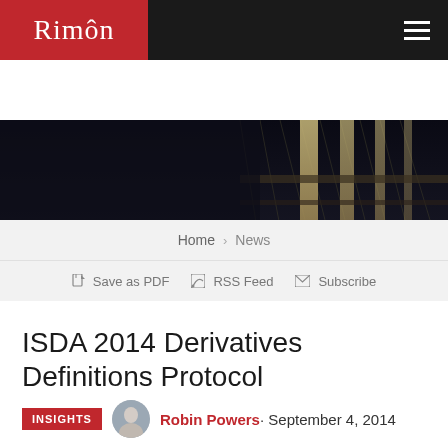[Figure (logo): Rimôn law firm logo, white serif text on red background]
[Figure (photo): Hero banner showing a bridge structure photographed from below against a dark sky, with 'Insights & Analysis' text overlay]
Home › News
Save as PDF  RSS Feed  Subscribe
ISDA 2014 Derivatives Definitions Protocol
INSIGHTS  Robin Powers · September 4, 2014